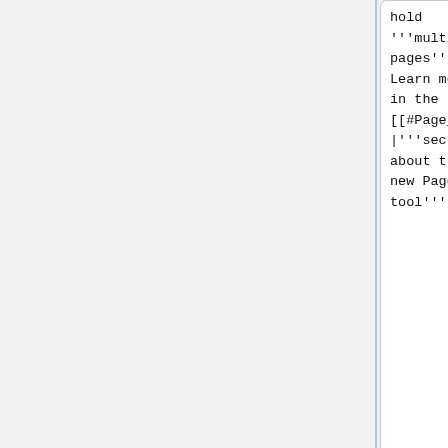hold '''multiple pages'''! Learn more in the [[#Page_tool|'''section about the new Page tool''']].
hold '''multiple pages'''! Learn more in the [[#Page_tool|'''section about the new Page tool''']].
* '''Page shadows''' now have a '''more realistic''', blurry, fade-out look ([https://gitlab.com/inkscape/inksca
* '''Page shadows''' now have a '''more realistic''', blurry, fade-out look ([https://gitlab.com/inkscape/inksca